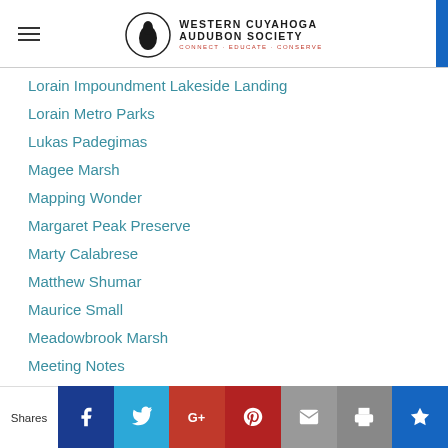Western Cuyahoga Audubon Society — CONNECT · EDUCATE · CONSERVE
Lorain Impoundment Lakeside Landing
Lorain Metro Parks
Lukas Padegimas
Magee Marsh
Mapping Wonder
Margaret Peak Preserve
Marty Calabrese
Matthew Shumar
Maurice Small
Meadowbrook Marsh
Meeting Notes
Member Meeting
Members
Membership
Miami University Hamilton
Shares | Facebook | Twitter | Google+ | Pinterest | Email | Print | King